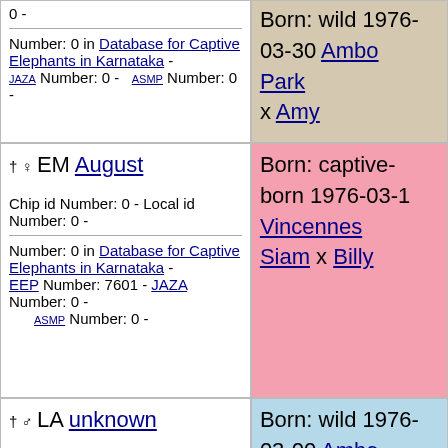0 -
Number: 0 in Database for Captive Elephants in Karnataka - JAZA Number: 0 - ASMP Number: 0 -
Born: wild 1976-03-30 Amboseli Park x Amy
† ♀ EM August
Chip id Number: 0 - Local id Number: 0 -
Number: 0 in Database for Captive Elephants in Karnataka - EEP Number: 7601 - JAZA Number: 0 - ASMP Number: 0 -
Born: captive-born 1976-03-1 Vincennes Siam x Billy
† ♂ LA unknown
Chip id Number: 0 - Local id Number: 0 -
Number: 0 in Database for Captive Elephants in Karnataka - JAZA Number: 0 - ASMP Number: 0 -
Born: wild 1976-03-00 Amboseli Park x Flora